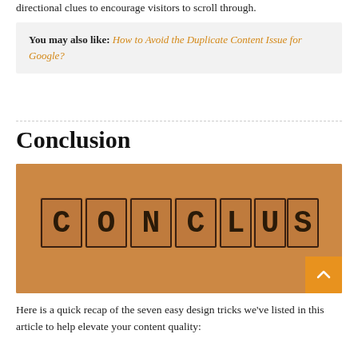directional clues to encourage visitors to scroll through.
You may also like: How to Avoid the Duplicate Content Issue for Google?
Conclusion
[Figure (illustration): Orange/brown background image with the word CONCLUSION spelled out in stamped block letters on an orange background]
Here is a quick recap of the seven easy design tricks we've listed in this article to help elevate your content quality: